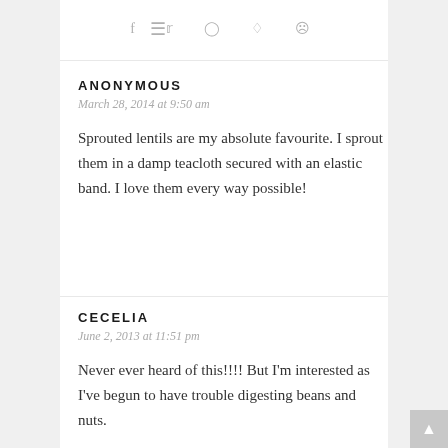≡  f  𝕥  ○  ℘  ◉
ANONYMOUS
March 28, 2014 at 9:50 am
Sprouted lentils are my absolute favourite. I sprout them in a damp teacloth secured with an elastic band. I love them every way possible!
CECELIA
June 2, 2013 at 11:51 pm
Never ever heard of this!!!! But I'm interested as I've begun to have trouble digesting beans and nuts.